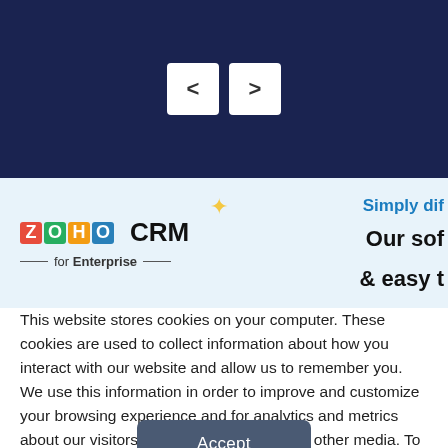[Figure (screenshot): Dark navy navigation bar with left and right arrow navigation buttons (< and >) centered in white rounded square buttons]
[Figure (screenshot): Zoho CRM for Enterprise banner with logo, decorative document images, and partial text 'Simply dif' and 'Our sof' and '& easy t']
This website stores cookies on your computer. These cookies are used to collect information about how you interact with our website and allow us to remember you. We use this information in order to improve and customize your browsing experience and for analytics and metrics about our visitors both on this website and other media. To find out more about the cookies we use, see our Privacy Policy. California residents have the right to direct us not to sell their personal information to third parties by filing an Opt-Out Request: Do Not Sell My Personal Info.
Accept